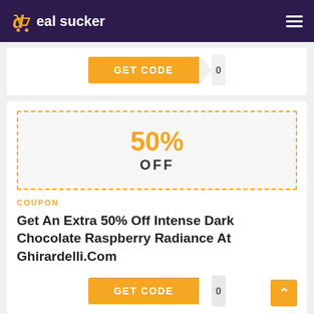deal sucker
[Figure (other): GET CODE button with orange background and folded corner effect (partial, top of page)]
[Figure (other): 50% OFF coupon box with orange dashed border on light gray background]
COUPON
Get An Extra 50% Off Intense Dark Chocolate Raspberry Radiance At Ghirardelli.Com
[Figure (other): GET CODE button with orange background and folded corner effect]